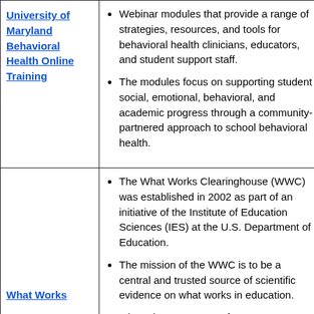| Resource | Description |
| --- | --- |
| University of Maryland Behavioral Health Online Training | Webinar modules that provide a range of strategies, resources, and tools for behavioral health clinicians, educators, and student support staff. | The modules focus on supporting student social, emotional, behavioral, and academic progress through a community-partnered approach to school behavioral health. |
| What Works | The What Works Clearinghouse (WWC) was established in 2002 as part of an initiative of the Institute of Education Sciences (IES) at the U.S. Department of Education. | The mission of the WWC is to be a central and trusted source of scientific evidence on what works in education. | It is an important part of IES's strategy to use rigorous and relevant research, |